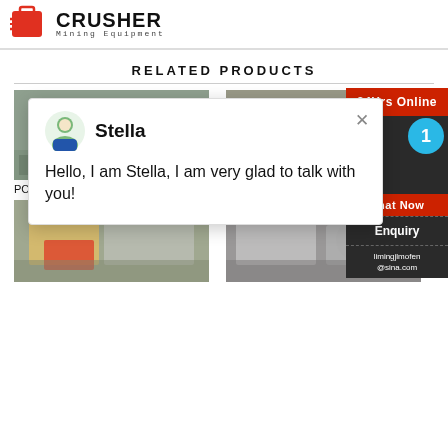[Figure (logo): Crusher Mining Equipment logo with red shopping bag icon and bold CRUSHER text]
RELATED PRODUCTS
[Figure (photo): PCL Sand Making Machine industrial equipment photo]
PCL Sand Making Machine
[Figure (photo): VSI5X Impact crusher industrial equipment photo]
VSI5X Impa...
[Figure (photo): Industrial mining equipment bottom left]
[Figure (photo): Industrial mining equipment bottom right]
[Figure (screenshot): Chat popup with avatar of Stella saying: Hello, I am Stella, I am very glad to talk with you!]
24Hrs Online
Need & suggestions
Chat Now
Enquiry
limingjlmofen@sina.com